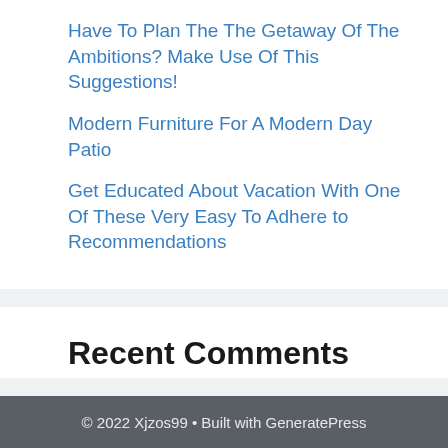Have To Plan The The Getaway Of The Ambitions? Make Use Of This Suggestions!
Modern Furniture For A Modern Day Patio
Get Educated About Vacation With One Of These Very Easy To Adhere to Recommendations
Recent Comments
No comments to show.
© 2022 Xjzos99 • Built with GeneratePress